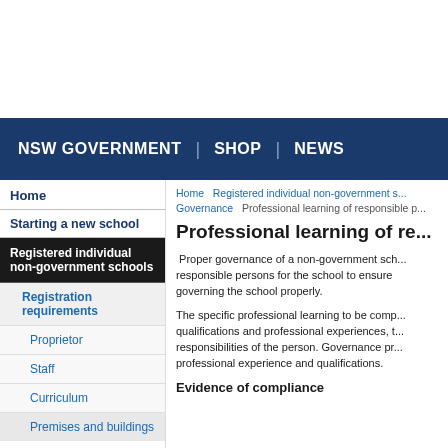NSW GOVERNMENT | SHOP | NEWS
Home
Starting a new school
Registered individual non-government schools
Registration requirements
Proprietor
Staff
Curriculum
Premises and buildings
Home Registered individual non-government schools Governance Professional learning of responsible persons
Professional learning of re...
Proper governance of a non-government school requires responsible persons for the school to ensure they are capable of governing the school properly.
The specific professional learning to be completed will depend on qualifications and professional experiences, the role and responsibilities of the person. Governance professional experience and qualifications.
Evidence of compliance